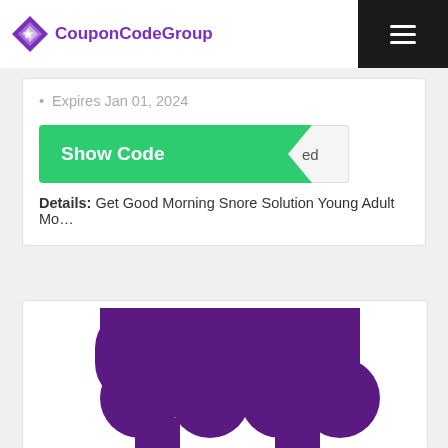CouponCodeGroup
Expires Jan 01, 2024
[Figure (other): Show Code button with green background and arrow cutout, with revealed code area showing 'ed']
Details: Get Good Morning Snore Solution Young Adult Mo…
[Figure (illustration): Purple store/shop awning icon with scalloped bottom edge and two rectangular pillars at bottom corners, partially cropped]